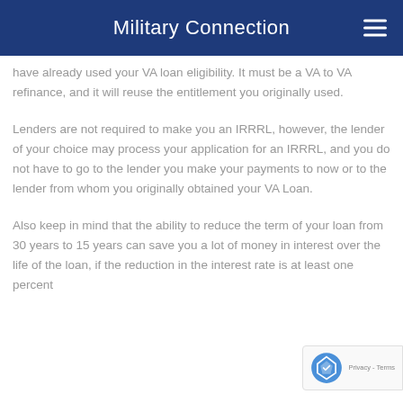Military Connection
have already used your VA loan eligibility. It must be a VA to VA refinance, and it will reuse the entitlement you originally used.
Lenders are not required to make you an IRRRL, however, the lender of your choice may process your application for an IRRRL, and you do not have to go to the lender you make your payments to now or to the lender from whom you originally obtained your VA Loan.
Also keep in mind that the ability to reduce the term of your loan from 30 years to 15 years can save you a lot of money in interest over the life of the loan, if the reduction in the interest rate is at least one percent